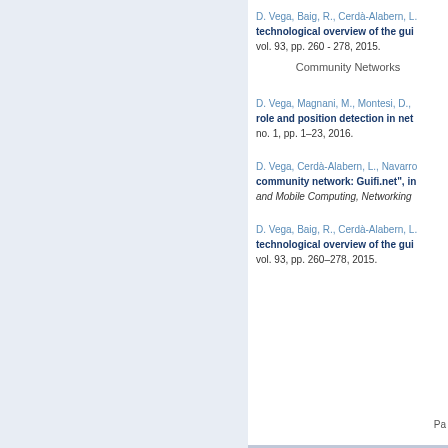D. Vega, Baig, R., Cerdà-Alabern, L.
technological overview of the gui
vol. 93, pp. 260 - 278, 2015.
Community Networks
D. Vega, Magnani, M., Montesi, D.,
role and position detection in net
no. 1, pp. 1–23, 2016.
D. Vega, Cerdà-Alabern, L., Navarro
community network: Guifi.net", in
and Mobile Computing, Networking
D. Vega, Baig, R., Cerdà-Alabern, L.
technological overview of the gui
vol. 93, pp. 260–278, 2015.
Pa